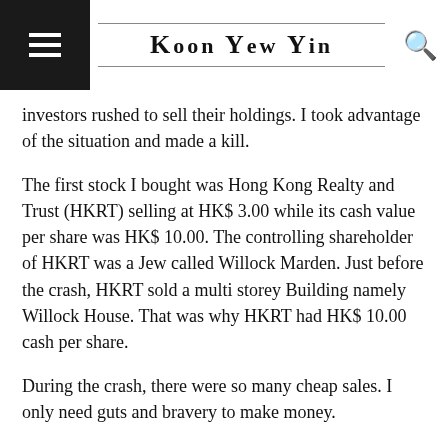Koon Yew Yin
investors rushed to sell their holdings. I took advantage of the situation and made a kill.
The first stock I bought was Hong Kong Realty and Trust (HKRT) selling at HK$ 3.00 while its cash value per share was HK$ 10.00. The controlling shareholder of HKRT was a Jew called Willock Marden. Just before the crash, HKRT sold a multi storey Building namely Willock House. That was why HKRT had HK$ 10.00 cash per share.
During the crash, there were so many cheap sales. I only need guts and bravery to make money.
Currently the Hong Kong stock market is dropping quite rapidly. If the protest continues, the stock market will crash thus creating another buying opportunity to make another